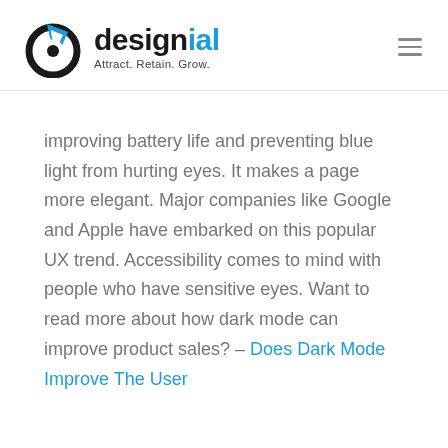designial — Attract. Retain. Grow.
improving battery life and preventing blue light from hurting eyes. It makes a page more elegant. Major companies like Google and Apple have embarked on this popular UX trend. Accessibility comes to mind with people who have sensitive eyes. Want to read more about how dark mode can improve product sales? – Does Dark Mode Improve The User